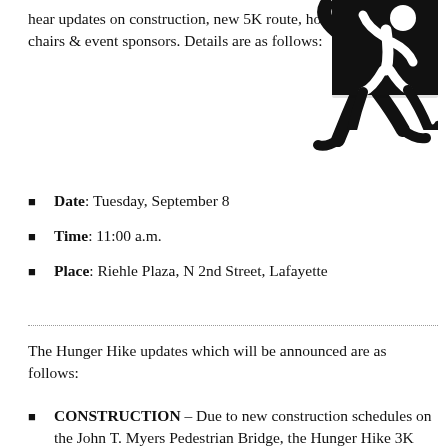hear updates on construction, new 5K route, honorary co-chairs & event sponsors. Details are as follows:
[Figure (illustration): Black silhouette illustration of a person running/hiking]
Date: Tuesday, September 8
Time: 11:00 a.m.
Place: Riehle Plaza, N 2nd Street, Lafayette
The Hunger Hike updates which will be announced are as follows:
CONSTRUCTION – Due to new construction schedules on the John T. Myers Pedestrian Bridge, the Hunger Hike 3K Walk route has been changed. The Hunger Hike Kick-off event will remain at our traditional location — Riehle Plaza, Lafayette (Sunday, September 20).